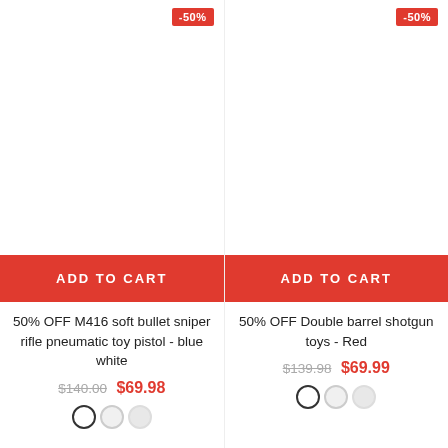[Figure (photo): Product image area for M416 soft bullet sniper rifle pneumatic toy pistol, blue white, with -50% discount badge]
ADD TO CART
50% OFF M416 soft bullet sniper rifle pneumatic toy pistol - blue white
$140.00  $69.98
[Figure (photo): Product image area for Double barrel shotgun toys, Red, with -50% discount badge]
ADD TO CART
50% OFF Double barrel shotgun toys - Red
$139.98  $69.99